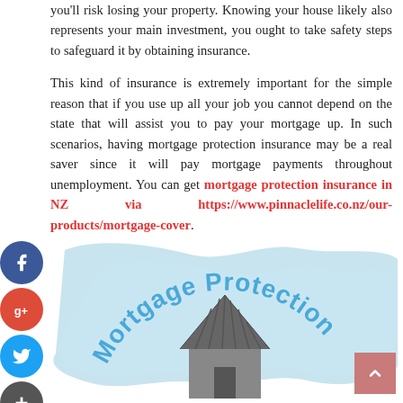you'll risk losing your property. Knowing your house likely also represents your main investment, you ought to take safety steps to safeguard it by obtaining insurance.
This kind of insurance is extremely important for the simple reason that if you use up all your job you cannot depend on the state that will assist you to pay your mortgage up. In such scenarios, having mortgage protection insurance may be a real saver since it will pay mortgage payments throughout unemployment. You can get mortgage protection insurance in NZ via https://www.pinnaclelife.co.nz/our-products/mortgage-cover.
[Figure (illustration): Illustration of a house with light blue irregular shape background and curved text reading 'Mortgage Protection' in blue font arching over a dark grey house silhouette.]